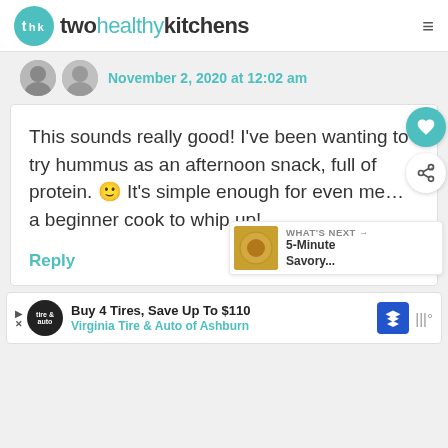twohealthykitchens
November 2, 2020 at 12:02 am
This sounds really good! I've been wanting to try hummus as an afternoon snack, full of protein. 🙂 It's simple enough for even me… a beginner cook to whip up!
Reply
WHAT'S NEXT → 5-Minute Savory...
Buy 4 Tires, Save Up To $110 Virginia Tire & Auto of Ashburn